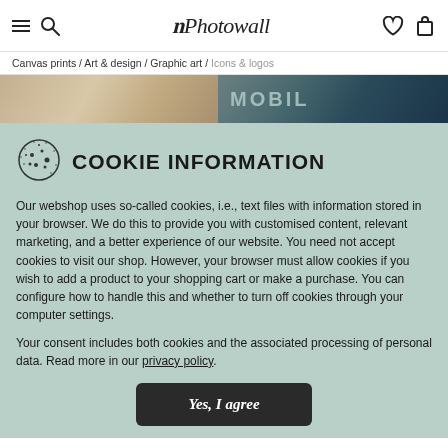Photowall — hamburger menu, search, heart, cart icons
Canvas prints / Art & design / Graphic art / Icons & logos
[Figure (photo): Two hero images side by side: left shows a vintage map/texture print, right shows a 'Mobil' sign photo]
COOKIE INFORMATION
Our webshop uses so-called cookies, i.e., text files with information stored in your browser. We do this to provide you with customised content, relevant marketing, and a better experience of our website. You need not accept cookies to visit our shop. However, your browser must allow cookies if you wish to add a product to your shopping cart or make a purchase. You can configure how to handle this and whether to turn off cookies through your computer settings.
Your consent includes both cookies and the associated processing of personal data. Read more in our privacy policy.
Yes, I agree